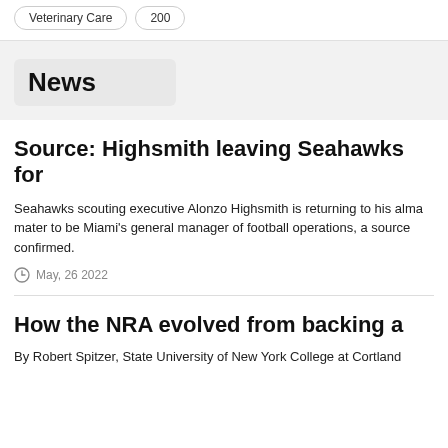Veterinary Care   200
News
Source: Highsmith leaving Seahawks for
Seahawks scouting executive Alonzo Highsmith is returning to his alma mater to be Miami's general manager of football operations, a source confirmed.
May, 26 2022
How the NRA evolved from backing a
By Robert Spitzer, State University of New York College at Cortland